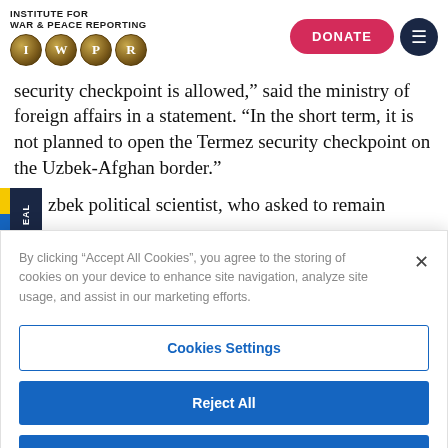[Figure (logo): Institute for War & Peace Reporting (IWPR) logo with four gold circles containing letters I, W, P, R]
security checkpoint is allowed," said the ministry of foreign affairs in a statement. "In the short term, it is not planned to open the Termez security checkpoint on the Uzbek-Afghan border."
...zbek political scientist, who asked to remain
By clicking "Accept All Cookies", you agree to the storing of cookies on your device to enhance site navigation, analyze site usage, and assist in our marketing efforts.
Cookies Settings
Reject All
Accept All Cookies